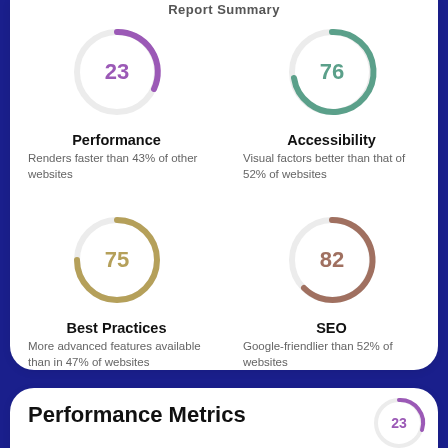Report Summary
[Figure (donut-chart): Performance]
[Figure (donut-chart): Accessibility]
[Figure (donut-chart): Best Practices]
[Figure (donut-chart): SEO]
Performance Metrics